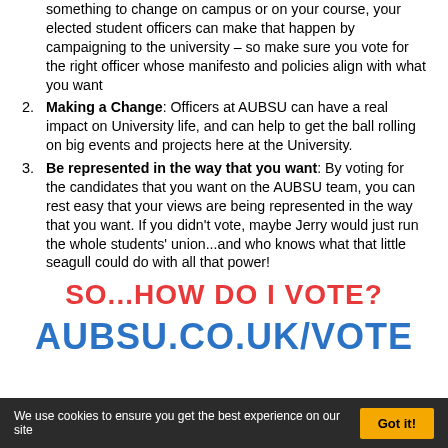something to change on campus or on your course, your elected student officers can make that happen by campaigning to the university – so make sure you vote for the right officer whose manifesto and policies align with what you want
2. Making a Change: Officers at AUBSU can have a real impact on University life, and can help to get the ball rolling on big events and projects here at the University.
3. Be represented in the way that you want: By voting for the candidates that you want on the AUBSU team, you can rest easy that your views are being represented in the way that you want. If you didn't vote, maybe Jerry would just run the whole students' union...and who knows what that little seagull could do with all that power!
SO...HOW DO I VOTE?
AUBSU.CO.UK/VOTE
We use cookies to ensure you get the best experience on our site